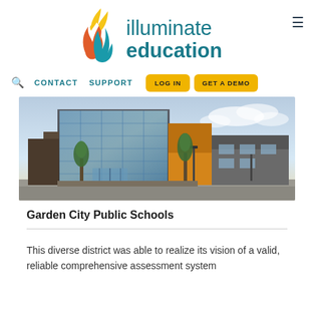[Figure (logo): Illuminate Education logo with flame/leaf icon and teal text reading 'illuminate education']
CONTACT   SUPPORT   LOG IN   GET A DEMO
[Figure (photo): Exterior photo of a modern school building with large glass windows, brick facade, yellow accent panels, and trees in front under a partly cloudy sky — Garden City Public Schools]
Garden City Public Schools
This diverse district was able to realize its vision of a valid, reliable comprehensive assessment system